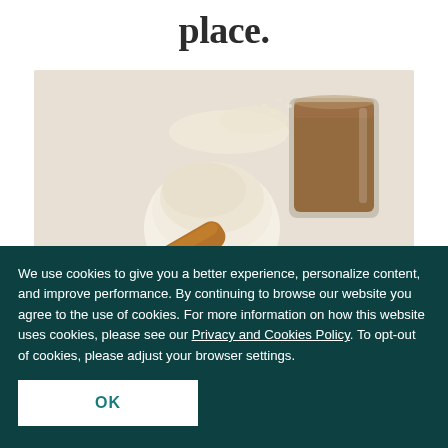place.
[Figure (photo): Overhead flat-lay photo of a wooden scoop filled with white protein powder, a glass of brown liquid drink, and scattered oats/grains on a light beige background.]
We use cookies to give you a better experience, personalize content, and improve performance. By continuing to browse our website you agree to the use of cookies. For more information on how this website uses cookies, please see our Privacy and Cookies Policy. To opt-out of cookies, please adjust your browser settings.
OK